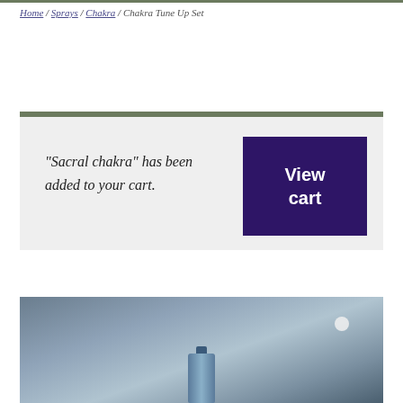Home / Sprays / Chakra / Chakra Tune Up Set
"Sacral chakra" has been added to your cart.
[Figure (screenshot): Dark purple 'View cart' button]
[Figure (photo): Photo of a spray bottle against a blurred blue-grey background]